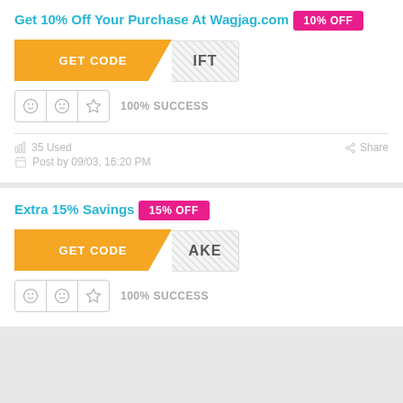Get 10% Off Your Purchase At Wagjag.com
10% OFF
[Figure (other): GET CODE button in orange with diagonal cut and hatched code reveal area showing 'IFT']
100% SUCCESS
35 Used
Share
Post by 09/03, 16:20 PM
Extra 15% Savings
15% OFF
[Figure (other): GET CODE button in orange with diagonal cut and hatched code reveal area showing 'AKE']
100% SUCCESS